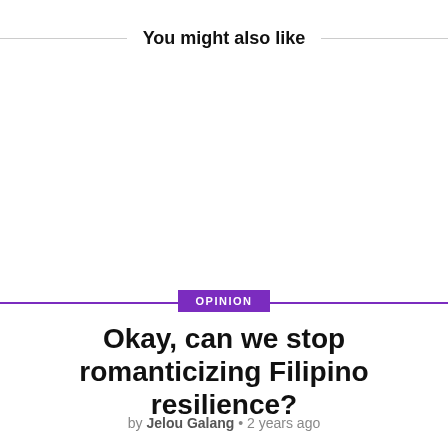You might also like
Okay, can we stop romanticizing Filipino resilience?
by Jelou Galang • 2 years ago